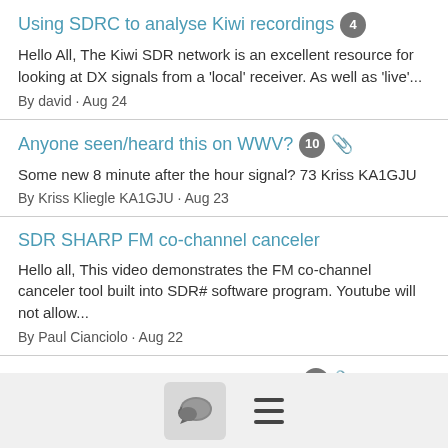Using SDRC to analyse Kiwi recordings [4]
Hello All, The Kiwi SDR network is an excellent resource for looking at DX signals from a 'local' receiver. As well as 'live'...
By david · Aug 24
Anyone seen/heard this on WWV? [10] [paperclip]
Some new 8 minute after the hour signal? 73 Kriss KA1GJU
By Kriss Kliegle KA1GJU · Aug 23
SDR SHARP FM co-channel canceler
Hello all, This video demonstrates the FM co-channel canceler tool built into SDR# software program. Youtube will not allow...
By Paul Cianciolo · Aug 22
Frequency Database Station Order [4] [paperclip]
Hello all, Perhaps this has been addressed before, but a quick search of the email topics didn't come up with what I was...
By Ken Sejkora · Aug 22
[partial thread title visible]